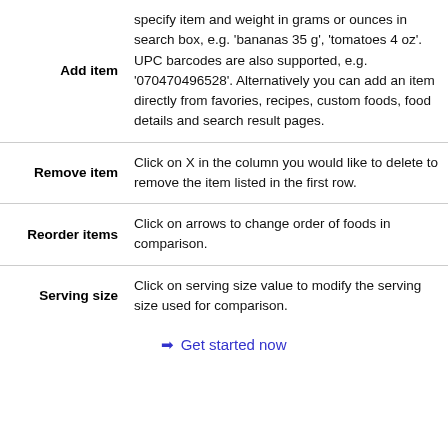| Action | Description |
| --- | --- |
| Add item | specify item and weight in grams or ounces in search box, e.g. 'bananas 35 g', 'tomatoes 4 oz'. UPC barcodes are also supported, e.g. '070470496528'. Alternatively you can add an item directly from favories, recipes, custom foods, food details and search result pages. |
| Remove item | Click on X in the column you would like to delete to remove the item listed in the first row. |
| Reorder items | Click on arrows to change order of foods in comparison. |
| Serving size | Click on serving size value to modify the serving size used for comparison. |
➜ Get started now